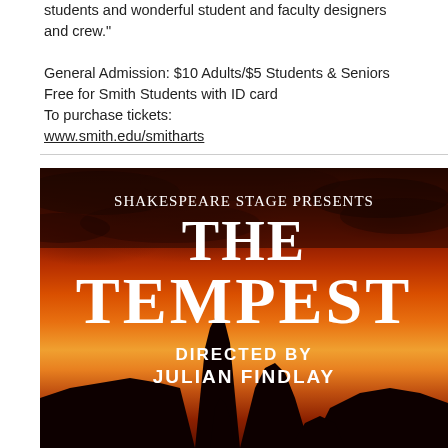students and wonderful student and faculty designers and crew."

General Admission: $10 Adults/$5 Students & Seniors Free for Smith Students with ID card
To purchase tickets:
www.smith.edu/smitharts
[Figure (illustration): Theatrical poster for 'The Tempest' directed by Julian Findlay, presented by Shakespeare Stage. White serif text on a dramatic red/orange sunset sky with dark rock silhouettes at the bottom.]